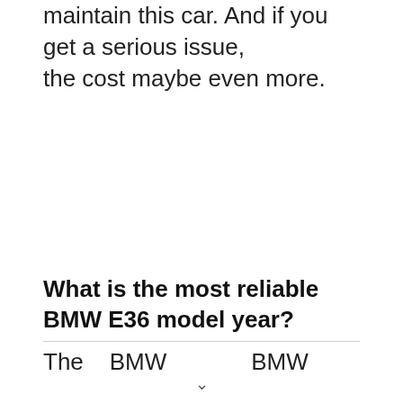maintain this car. And if you get a serious issue, the cost maybe even more.
What is the most reliable BMW E36 model year?
The 1999 BMW E36 M3 is generally...BMW...
∨